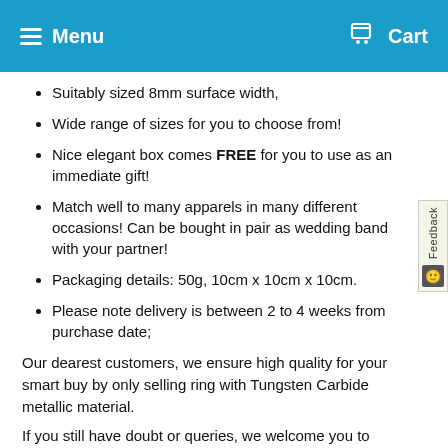Menu | Cart
Suitably sized 8mm surface width,
Wide range of sizes for you to choose from!
Nice elegant box comes FREE for you to use as an immediate gift!
Match well to many apparels in many different occasions! Can be bought in pair as wedding band with your partner!
Packaging details: 50g, 10cm x 10cm x 10cm.
Please note delivery is between 2 to 4 weeks from purchase date;
Our dearest customers, we ensure high quality for your smart buy by only selling ring with Tungsten Carbide metallic material.
If you still have doubt or queries, we welcome you to feedback us via email or messenger. We look forward to serve you with our very best!